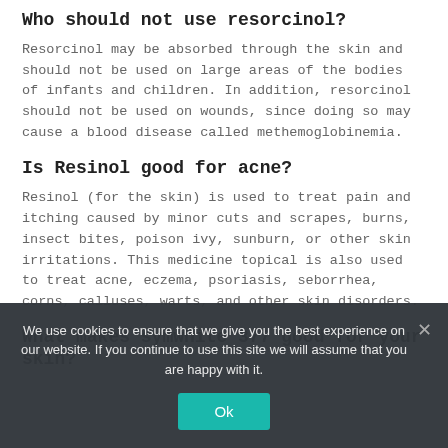Who should not use resorcinol?
Resorcinol may be absorbed through the skin and should not be used on large areas of the bodies of infants and children. In addition, resorcinol should not be used on wounds, since doing so may cause a blood disease called methemoglobinemia.
Is Resinol good for acne?
Resinol (for the skin) is used to treat pain and itching caused by minor cuts and scrapes, burns, insect bites, poison ivy, sunburn, or other skin irritations. This medicine topical is also used to treat acne, eczema, psoriasis, seborrhea, corns, calluses, warts, and other skin disorders.
What makes symwhite 377 good for your skin?
We use cookies to ensure that we give you the best experience on our website. If you continue to use this site we will assume that you are happy with it.